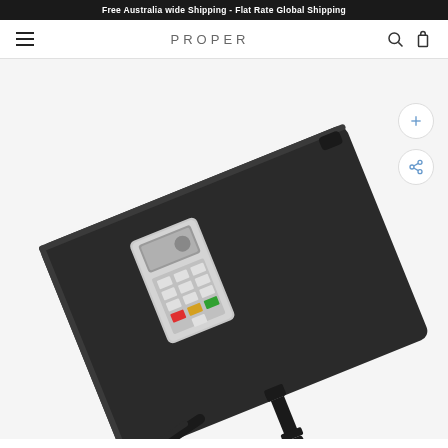Free Australia wide Shipping - Flat Rate Global Shipping
[Figure (logo): PROPER brand logo in the center of navigation bar]
[Figure (photo): Product photo showing a dark tablet case with a payment terminal (keypad device) mounted on top, and a strap/lanyard attached at the bottom, photographed at an angle on a white background]